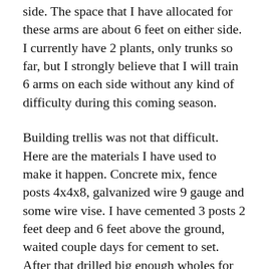side. The space that I have allocated for these arms are about 6 feet on either side. I currently have 2 plants, only trunks so far, but I strongly believe that I will train 6 arms on each side without any kind of difficulty during this coming season.
Building trellis was not that difficult. Here are the materials I have used to make it happen. Concrete mix, fence posts 4x4x8, galvanized wire 9 gauge and some wire vise. I have cemented 3 posts 2 feet deep and 6 feet above the ground, waited couple days for cement to set. After that drilled big enough wholes for wire vise to fit and setup the wire to its permanent position, securing it with wire vises on both ends of trellis, trimmed the access